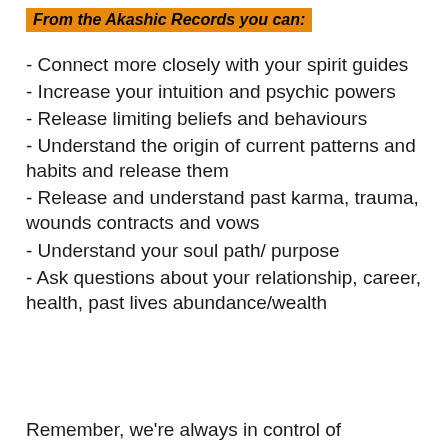From the Akashic Records you can:
- Connect more closely with your spirit guides
- Increase your intuition and psychic powers
- Release limiting beliefs and behaviours
- Understand the origin of current patterns and habits and release them
- Release and understand past karma, trauma, wounds contracts and vows
- Understand your soul path/ purpose
- Ask questions about your relationship, career, health, past lives abundance/wealth
Remember, we're always in control of